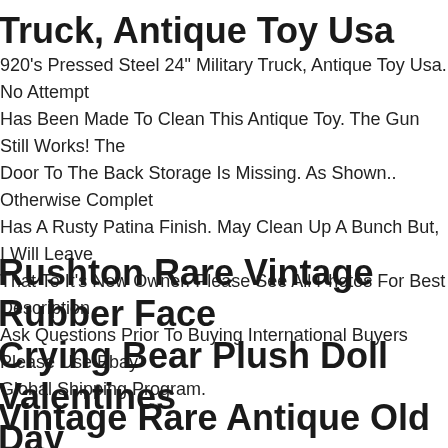Truck, Antique Toy Usa
920's Pressed Steel 24" Military Truck, Antique Toy Usa. No Attempt Has Been Made To Clean This Antique Toy. The Gun Still Works! The Door To The Back Storage Is Missing. As Shown.. Otherwise Complete Has A Rusty Patina Finish. May Clean Up A Bunch But, I Will Leave That To It's New Owner. Please See All Photos For Best Description Ask Questions Prior To Buying International Buyers Please Use Ebay's Global Shipping Program.
Rushton Rare Vintage Rubber Face Crying Bear Plush Doll Valentines Day
Vintage Rare Antique Old